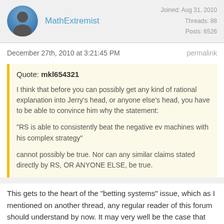MathExtremist  Joined: Aug 31, 2010  Threads: 88  Posts: 6526
December 27th, 2010 at 3:21:45 PM  permalink
Quote: mkl654321
I think that before you can possibly get any kind of rational explanation into Jerry's head, or anyone else's head, you have to be able to convince him why the statement:

"RS is able to consistently beat the negative ev machines with his complex strategy"

cannot possibly be true. Nor can any similar claims stated directly by RS, OR ANYONE ELSE, be true.
This gets to the heart of the "betting systems" issue, which as I mentioned on another thread, any regular reader of this forum should understand by now. It may very well be the case that "RS has been able to stay ahead of the negative EV machines with his complex